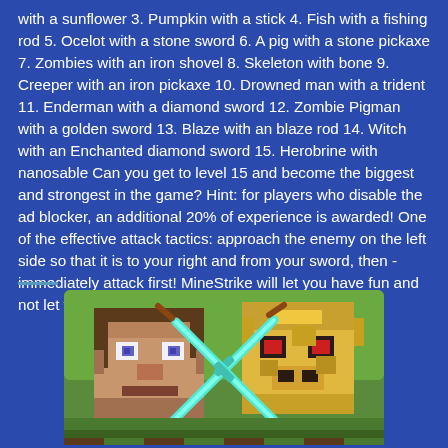with a sunflower 3. Pumpkin with a stick 4. Fish with a fishing rod 5. Ocelot with a stone sword 6. A pig with a stone pickaxe 7. Zombies with an iron shovel 8. Skeleton with bone 9. Creeper with an iron pickaxe 10. Drowned man with a trident 11. Enderman with a diamond sword 12. Zombie Pigman with a golden sword 13. Blaze with an blaze rod 14. Witch with an Enchanted diamond sword 15. Herobrine with nanosable Can you get to level 15 and become the biggest and strongest in the game? Hint: for players who disable the ad blocker, an additional 20% of experience is awarded! One of the effective attack tactics: approach the enemy on the left side so that it is to your right and from your sword, then - immediately attack first! MineStrike will let you have fun and not let you get bored!
[Figure (illustration): Minecraft-style pixel art illustration showing two character heads (Steve and a golden/zombie pigman character) crossing diamond swords in front of a green grass background.]